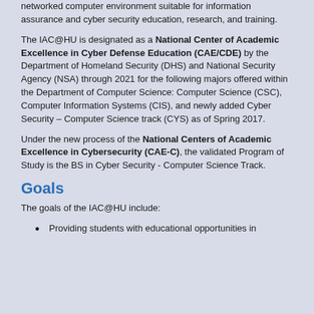networked computer environment suitable for information assurance and cyber security education, research, and training.
The IAC@HU is designated as a National Center of Academic Excellence in Cyber Defense Education (CAE/CDE) by the Department of Homeland Security (DHS) and National Security Agency (NSA) through 2021 for the following majors offered within the Department of Computer Science: Computer Science (CSC), Computer Information Systems (CIS), and newly added Cyber Security – Computer Science track (CYS) as of Spring 2017.
Under the new process of the National Centers of Academic Excellence in Cybersecurity (CAE-C), the validated Program of Study is the BS in Cyber Security - Computer Science Track.
Goals
The goals of the IAC@HU include:
Providing students with educational opportunities in